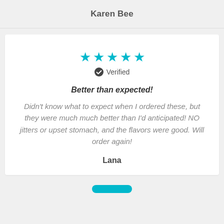Karen Bee
[Figure (other): Five teal/cyan filled stars indicating a 5-star rating]
✔ Verified
Better than expected!
Didn't know what to expect when I ordered these, but they were much much better than I'd anticipated! NO jitters or upset stomach, and the flavors were good. Will order again!
Lana